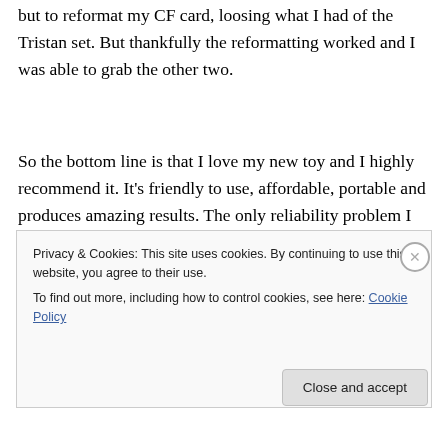but to reformat my CF card, loosing what I had of the Tristan set. But thankfully the reformatting worked and I was able to grab the other two.
So the bottom line is that I love my new toy and I highly recommend it. It's friendly to use, affordable, portable and produces amazing results. The only reliability problem I had was when it got excessively hot. As for features, I'd love to monitor a mono signal in both ears and be able to
Privacy & Cookies: This site uses cookies. By continuing to use this website, you agree to their use.
To find out more, including how to control cookies, see here: Cookie Policy